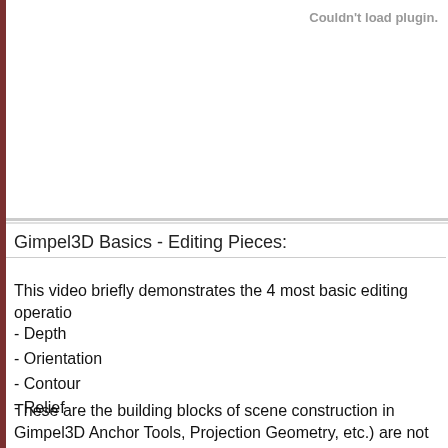[Figure (other): Plugin failed to load area — shows 'Couldn't load plugin.' message in gray text at top right of a blank white rectangle]
Gimpel3D Basics - Editing Pieces:
This video briefly demonstrates the 4 most basic editing operatio
- Depth
- Orientation
- Contour
- Relief
These are the building blocks of scene construction in Gimpel3D Anchor Tools, Projection Geometry, etc.) are not covered in this v